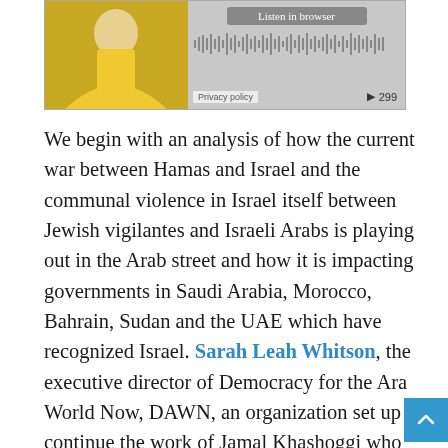[Figure (screenshot): Audio media player showing a person in yellow clothing on the left and playback controls with waveform, 'Listen in browser' button, Privacy policy label, and play count 299 on the right.]
We begin with an analysis of how the current war between Hamas and Israel and the communal violence in Israel itself between Jewish vigilantes and Israeli Arabs is playing out in the Arab street and how it is impacting governments in Saudi Arabia, Morocco, Bahrain, Sudan and the UAE which have recognized Israel. Sarah Leah Whitson, the executive director of Democracy for the Arab World Now, DAWN, an organization set up continue the work of Jamal Khashoggi who